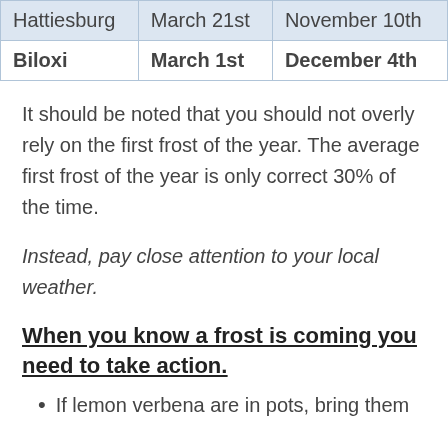| Hattiesburg | March 21st | November 10th |
| Biloxi | March 1st | December 4th |
It should be noted that you should not overly rely on the first frost of the year. The average first frost of the year is only correct 30% of the time.
Instead, pay close attention to your local weather.
When you know a frost is coming you need to take action.
If lemon verbena are in pots, bring them